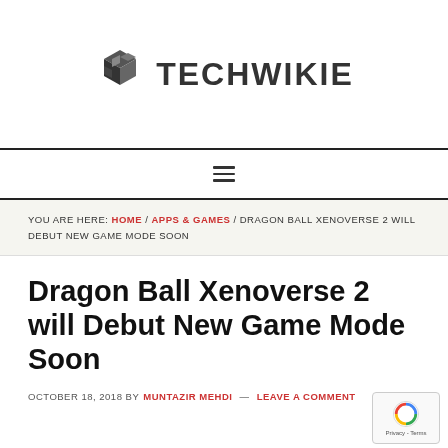[Figure (logo): Techwikie logo with geometric cube icon and bold text TECHWIKIE]
[Figure (other): Hamburger menu icon with three horizontal lines]
YOU ARE HERE: HOME / APPS & GAMES / DRAGON BALL XENOVERSE 2 WILL DEBUT NEW GAME MODE SOON
Dragon Ball Xenoverse 2 will Debut New Game Mode Soon
OCTOBER 18, 2018 BY MUNTAZIR MEHDI — LEAVE A COMMENT